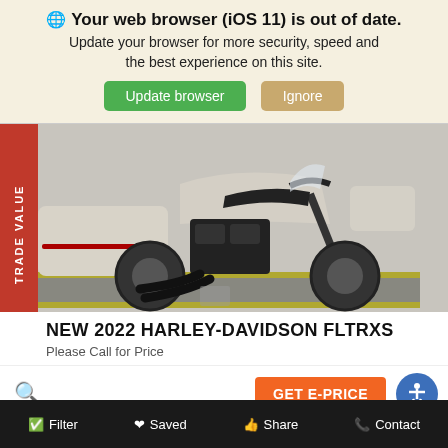🌐 Your web browser (iOS 11) is out of date. Update your browser for more security, speed and the best experience on this site.
[Figure (screenshot): Two buttons: green 'Update browser' and tan/gold 'Ignore']
[Figure (photo): Photo of a white 2022 Harley-Davidson FLTRXS motorcycle with black engine and trim, parked on a yellow-bordered platform in a dealership.]
TRADE VALUE
NEW 2022 HARLEY-DAVIDSON FLTRXS
Please Call for Price
GET E-PRICE
Filter  Saved  Share  Contact